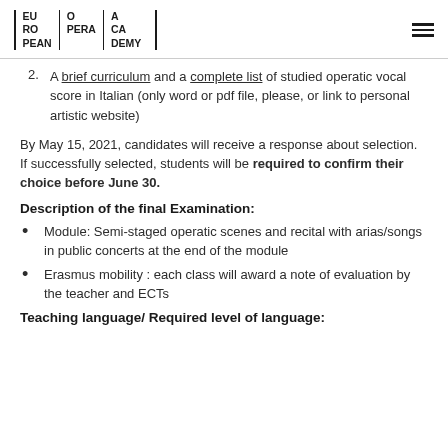EUROPEAN OPERA ACADEMY
2. A brief curriculum and a complete list of studied operatic vocal score in Italian (only word or pdf file, please, or link to personal artistic website)
By May 15, 2021, candidates will receive a response about selection. If successfully selected, students will be required to confirm their choice before June 30.
Description of the final Examination:
Module: Semi-staged operatic scenes and recital with arias/songs in public concerts at the end of the module
Erasmus mobility : each class will award a note of evaluation by the teacher and ECTs
Teaching language/ Required level of language: